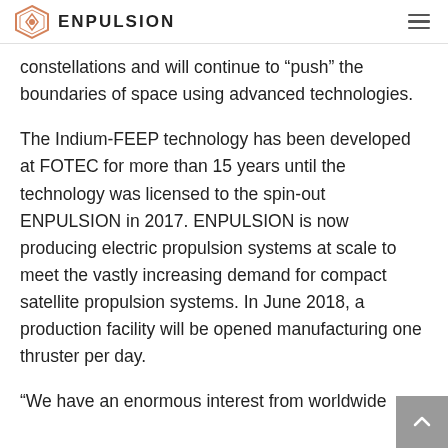ENPULSION
constellations and will continue to “push” the boundaries of space using advanced technologies.
The Indium-FEEP technology has been developed at FOTEC for more than 15 years until the technology was licensed to the spin-out ENPULSION in 2017. ENPULSION is now producing electric propulsion systems at scale to meet the vastly increasing demand for compact satellite propulsion systems. In June 2018, a production facility will be opened manufacturing one thruster per day.
“We have an enormous interest from worldwide